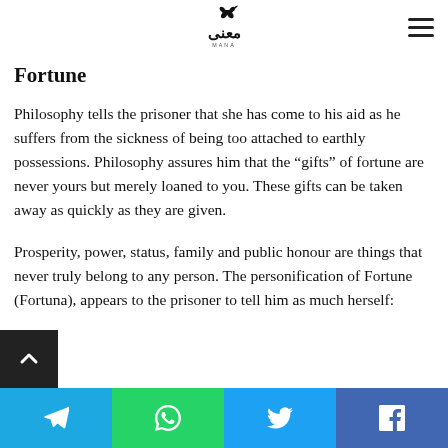Mana logo and navigation
Fortune
Philosophy tells the prisoner that she has come to his aid as he suffers from the sickness of being too attached to earthly possessions. Philosophy assures him that the “gifts” of fortune are never yours but merely loaned to you. These gifts can be taken away as quickly as they are given.
Prosperity, power, status, family and public honour are things that never truly belong to any person. The personification of Fortune (Fortuna), appears to the prisoner to tell him as much herself:
Social sharing bar: Telegram, WhatsApp, Twitter, Facebook